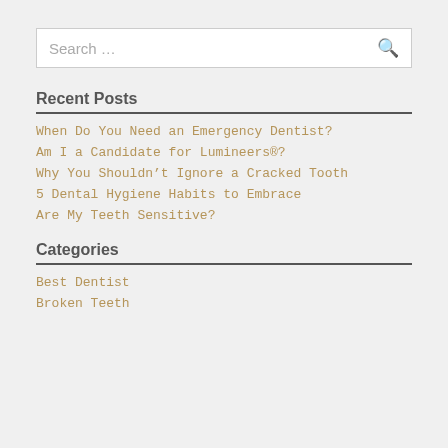Search …
Recent Posts
When Do You Need an Emergency Dentist?
Am I a Candidate for Lumineers®?
Why You Shouldn't Ignore a Cracked Tooth
5 Dental Hygiene Habits to Embrace
Are My Teeth Sensitive?
Categories
Best Dentist
Broken Teeth